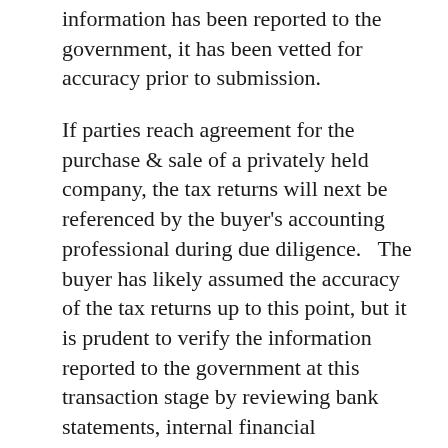information has been reported to the government, it has been vetted for accuracy prior to submission.
If parties reach agreement for the purchase & sale of a privately held company, the tax returns will next be referenced by the buyer's accounting professional during due diligence.   The buyer has likely assumed the accuracy of the tax returns up to this point, but it is prudent to verify the information reported to the government at this transaction stage by reviewing bank statements, internal financial documents, and bookkeeping systems.  Amended tax returns are filed annually by the best-intentioned entrepreneurs.  A percentage of filed tax returns will have errors that need correction.   A detailed review of the historical financial records of a business by a buyer prior to acquisition is always is their best interest.
Due diligence...